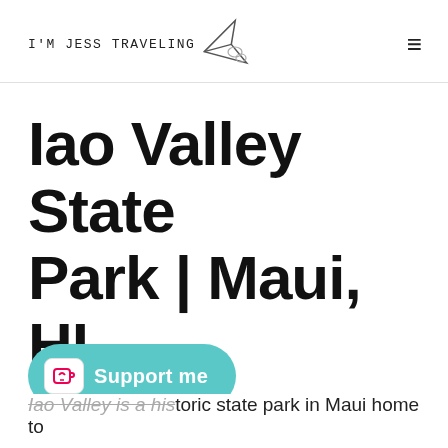I'M JESS TRAVELING
Iao Valley State Park | Maui, HI
0 comments
[Figure (infographic): Social share buttons: LinkedIn (dark blue), Twitter (light blue), Facebook (blue), Pinterest (red), and share count showing 125 SHARES]
[Figure (infographic): Support me button with Ko-fi cup icon on teal/cyan pill-shaped button]
Iao Valley is a historic state park in Maui home to